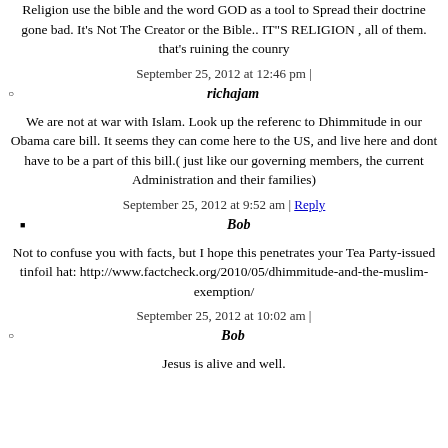Religion use the bible and the word GOD as a tool to Spread their doctrine gone bad. It's Not The Creator or the Bible.. IT"S RELIGION , all of them. that's ruining the counry
September 25, 2012 at 12:46 pm |
richajam
We are not at war with Islam. Look up the referenc to Dhimmitude in our Obama care bill. It seems they can come here to the US, and live here and dont have to be a part of this bill.( just like our governing members, the current Administration and their families)
September 25, 2012 at 9:52 am | Reply
Bob
Not to confuse you with facts, but I hope this penetrates your Tea Party-issued tinfoil hat: http://www.factcheck.org/2010/05/dhimmitude-and-the-muslim-exemption/
September 25, 2012 at 10:02 am |
Bob
Jesus is alive and well.